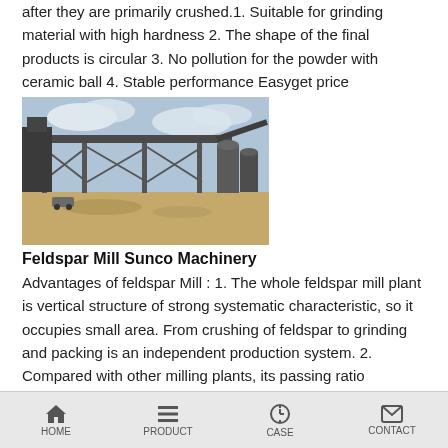after they are primarily crushed.1. Suitable for grinding material with high hardness 2. The shape of the final products is circular 3. No pollution for the powder with ceramic ball 4. Stable performance Easyget price
[Figure (photo): Industrial mining/crushing plant facility with conveyor belts and steel structure, photographed outdoors on a dry site]
Feldspar Mill Sunco Machinery
Advantages of feldspar Mill : 1. The whole feldspar mill plant is vertical structure of strong systematic characteristic, so it occupies small area. From crushing of feldspar to grinding and packing is an independent production system. 2. Compared with other milling plants, its passing ratio achieves 99%, this is what other mill can not reach. 3.get price
HOME  PRODUCT  CASE  CONTACT